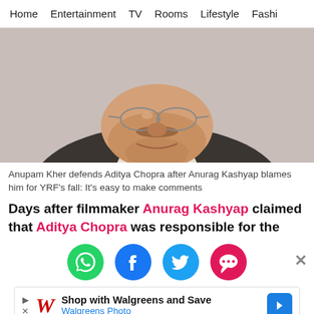Home  Entertainment  TV  Rooms  Lifestyle  Fashi
[Figure (photo): Close-up photo of an older man with glasses and a mustache, smiling, wearing a suit.]
Anupam Kher defends Aditya Chopra after Anurag Kashyap blames him for YRF's fall: It's easy to make comments
Days after filmmaker Anurag Kashyap claimed that Aditya Chopra was responsible for the
[Figure (infographic): Social share icons: WhatsApp (green), Facebook (blue), Twitter (light blue), Chat/comment (pink-red). Close X button on right.]
[Figure (infographic): Advertisement bar: Walgreens logo with italic red W, text 'Shop with Walgreens and Save' and 'Walgreens Photo', blue arrow button.]